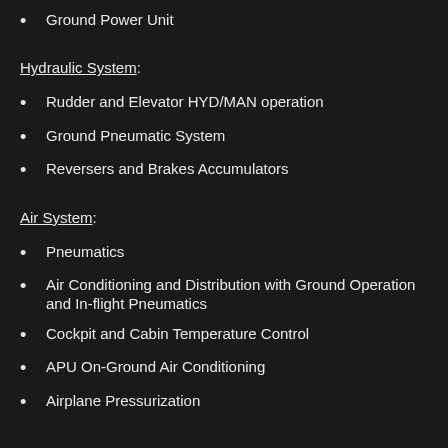Ground Power Unit
Hydraulic System:
Rudder and Elevator HYD/MAN operation
Ground Pneumatic System
Reversers and Brakes Accumulators
Air System:
Pneumatics
Air Conditioning and Distribution with Ground Operation and In-flight Pneumatics
Cockpit and Cabin Temperature Control
APU On-Ground Air Conditioning
Airplane Pressurization